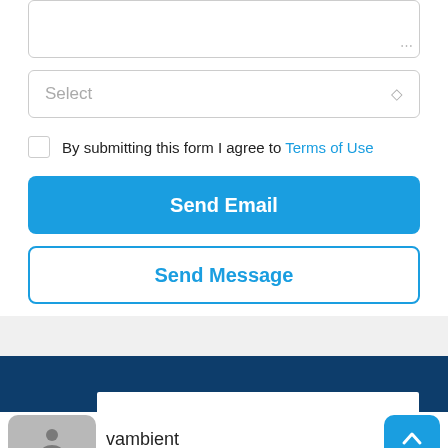[Figure (screenshot): Textarea input field (partially visible, truncated at top)]
[Figure (screenshot): Dropdown select input with placeholder 'Select' and a diamond arrow indicator]
By submitting this form I agree to Terms of Use
Send Email
Send Message
[Figure (screenshot): Gray section divider, then dark navy blue footer section with partial white bar]
vambient
[Figure (screenshot): Bottom navigation bar with gray avatar icon button on left, username 'vambient', and blue up-arrow button on right]